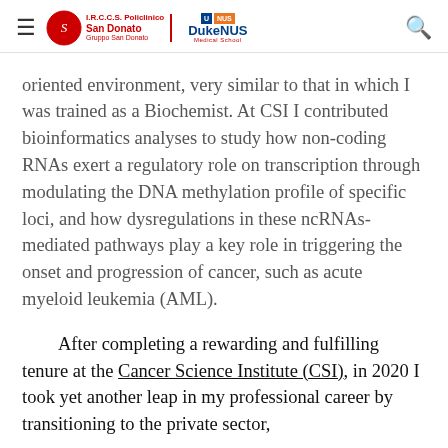I.R.C.C.S. Policlinico San Donato | DukeNUS Medical School
oriented environment, very similar to that in which I was trained as a Biochemist. At CSI I contributed bioinformatics analyses to study how non-coding RNAs exert a regulatory role on transcription through modulating the DNA methylation profile of specific loci, and how dysregulations in these ncRNAs-mediated pathways play a key role in triggering the onset and progression of cancer, such as acute myeloid leukemia (AML).
After completing a rewarding and fulfilling tenure at the Cancer Science Institute (CSI), in 2020 I took yet another leap in my professional career by transitioning to the private sector,